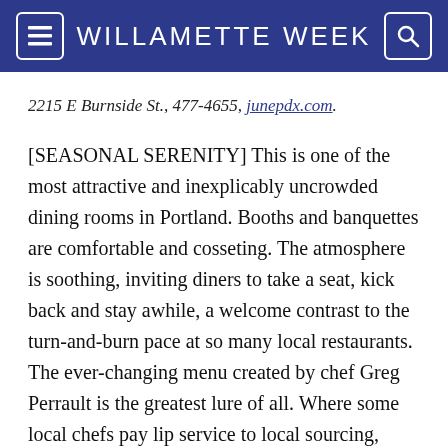WILLAMETTE WEEK
2215 E Burnside St., 477-4655, junepdx.com.
[SEASONAL SERENITY] This is one of the most attractive and inexplicably uncrowded dining rooms in Portland. Booths and banquettes are comfortable and cosseting. The atmosphere is soothing, inviting diners to take a seat, kick back and stay awhile, a welcome contrast to the turn-and-burn pace at so many local restaurants. The ever-changing menu created by chef Greg Perrault is the greatest lure of all. Where some local chefs pay lip service to local sourcing, Perrault is all